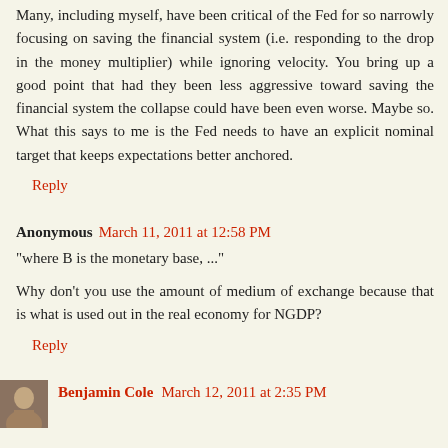Many, including myself, have been critical of the Fed for so narrowly focusing on saving the financial system (i.e. responding to the drop in the money multiplier) while ignoring velocity. You bring up a good point that had they been less aggressive toward saving the financial system the collapse could have been even worse. Maybe so. What this says to me is the Fed needs to have an explicit nominal target that keeps expectations better anchored.
Reply
Anonymous  March 11, 2011 at 12:58 PM
"where B is the monetary base, ..."
Why don't you use the amount of medium of exchange because that is what is used out in the real economy for NGDP?
Reply
Benjamin Cole  March 12, 2011 at 2:35 PM